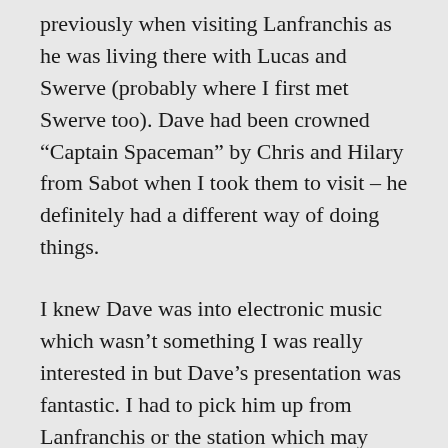previously when visiting Lanfranchis as he was living there with Lucas and Swerve (probably where I first met Swerve too). Dave had been crowned “Captain Spaceman” by Chris and Hilary from Sabot when I took them to visit – he definitely had a different way of doing things.
I knew Dave was into electronic music which wasn’t something I was really interested in but Dave’s presentation was fantastic. I had to pick him up from Lanfranchis or the station which may explain why I have zero recollection of Pigman Vampire. He soon jumped on stage with his minimal set up of gadgets